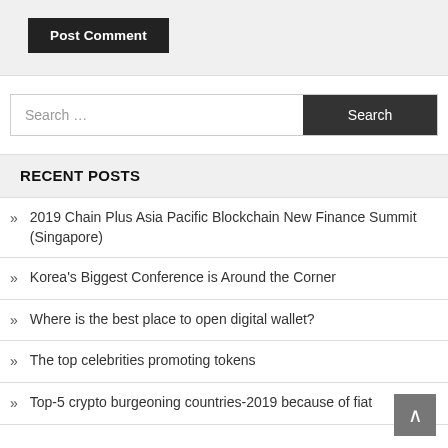Post Comment
Search ...
RECENT POSTS
2019 Chain Plus Asia Pacific Blockchain New Finance Summit (Singapore)
Korea's Biggest Conference is Around the Corner
Where is the best place to open digital wallet?
The top celebrities promoting tokens
Top-5 crypto burgeoning countries-2019 because of fiat